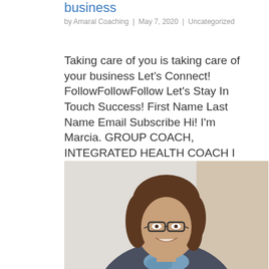business
by Amaral Coaching | May 7, 2020 | Uncategorized
Taking care of you is taking care of your business Let’s Connect! FollowFollowFollow Let's Stay In Touch Success! First Name Last Name Email Subscribe Hi! I'm Marcia. GROUP COACH, INTEGRATED HEALTH COACH I am working to share the gift of the knowledge…
[Figure (photo): Portrait photo of a smiling woman with brown hair and glasses, wearing a blue/teal scarf, seated in front of a light background with a brownish area to the right.]